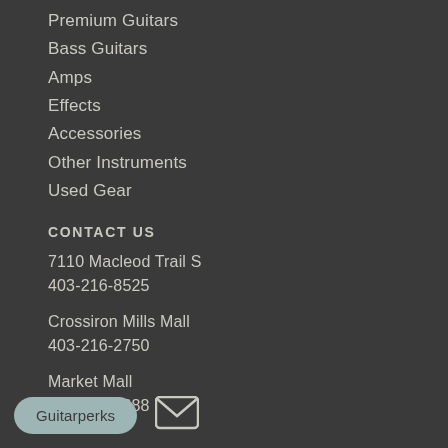Premium Guitars
Bass Guitars
Amps
Effects
Accessories
Other Instruments
Used Gear
CONTACT US
7110 Macleod Trail S
403-216-8525
Crossiron Mills Mall
403-216-2750
Market Mall
403-202-1688
Guitarperks